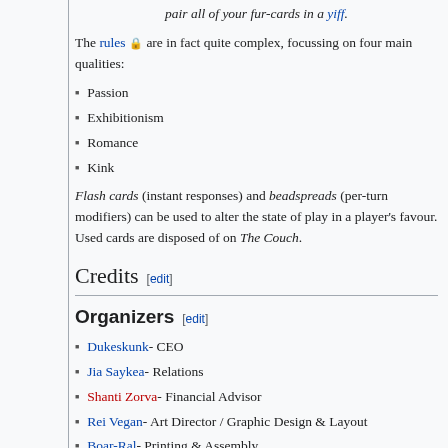pair all of your fur-cards in a yiff.
The rules 🔒 are in fact quite complex, focussing on four main qualities:
Passion
Exhibitionism
Romance
Kink
Flash cards (instant responses) and beadspreads (per-turn modifiers) can be used to alter the state of play in a player's favour. Used cards are disposed of on The Couch.
Credits [edit]
Organizers [edit]
Dukeskunk - CEO
Jia Saykea - Relations
Shanti Zorva - Financial Advisor
Rei Vegan - Art Director / Graphic Design & Layout
Boar-Ral - Printing & Assembly